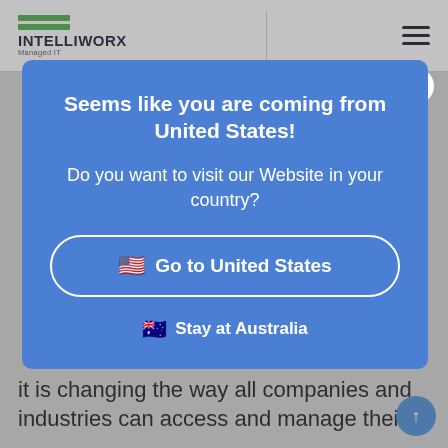INTELLIWORX Managed IT
[Figure (screenshot): Modal popup overlay on a website. Blue modal with heading 'Seems like you are coming from United States!', body text 'Do you want to visit our Website in your country?', a button 'Go to United States' with US flag, and a link 'Stay at Australia' with Australian flag.]
it is changing the way all companies and industries can access and manage their